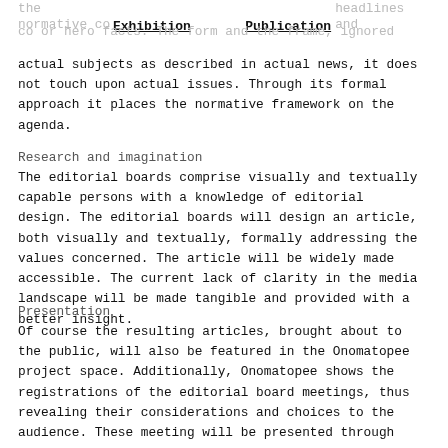Exhibition    Publication
and ignores the normative content of the headlines and color hero facts. The form and the frame, ignored actual subjects as described in actual news, it does not touch upon actual issues. Through its formal approach it places the normative framework on the agenda.
Research and imagination
The editorial boards comprise visually and textually capable persons with a knowledge of editorial design. The editorial boards will design an article, both visually and textually, formally addressing the values concerned. The article will be widely made accessible. The current lack of clarity in the media landscape will be made tangible and provided with a better insight.
Presentation
Of course the resulting articles, brought about to the public, will also be featured in the Onomatopee project space. Additionally, Onomatopee shows the registrations of the editorial board meetings, thus revealing their considerations and choices to the audience. These meeting will be presented through